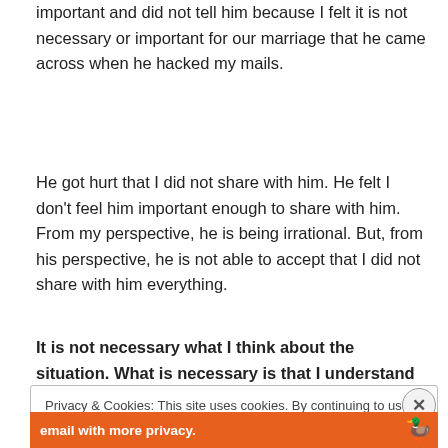important and did not tell him because I felt it is not necessary or important for our marriage that he came across when he hacked my mails.
He got hurt that I did not share with him. He felt I don't feel him important enough to share with him. From my perspective, he is being irrational. But, from his perspective, he is not able to accept that I did not share with him everything.
It is not necessary what I think about the situation. What is necessary is that I understand his pain when
Privacy & Cookies: This site uses cookies. By continuing to use this website, you agree to their use.
To find out more, including how to control cookies, see here: Cookie Policy
[Figure (screenshot): Orange banner at bottom with white text 'email with more privacy.' and duck logo]